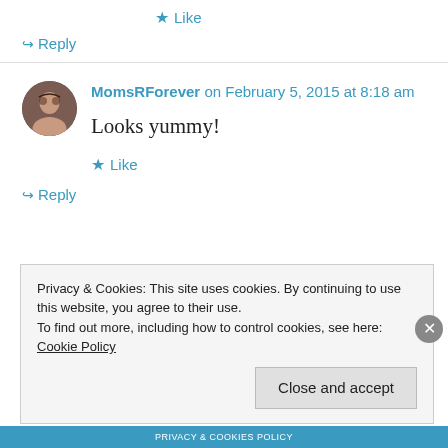★ Like
↪ Reply
MomsRForever on February 5, 2015 at 8:18 am
Looks yummy!
★ Like
↪ Reply
Privacy & Cookies: This site uses cookies. By continuing to use this website, you agree to their use. To find out more, including how to control cookies, see here: Cookie Policy
Close and accept